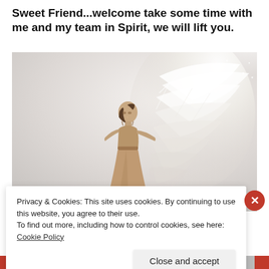Sweet Friend...welcome take some time with me and my team in Spirit, we will lift you.
[Figure (photo): A woman in a flowing beige/tan dress standing with arms open, looking upward, with large white angel wings behind her against a soft gray-white ethereal background.]
Privacy & Cookies: This site uses cookies. By continuing to use this website, you agree to their use.
To find out more, including how to control cookies, see here: Cookie Policy